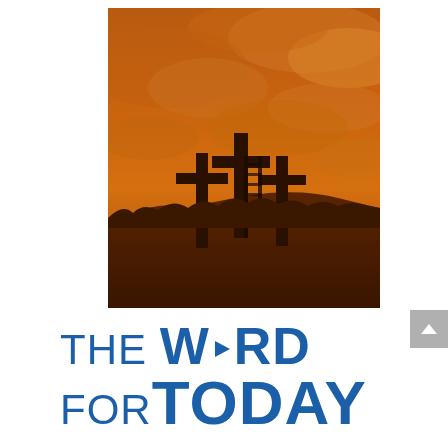[Figure (photo): Three large wooden crosses silhouetted on a hilltop against a dramatic orange/amber sky with clouds. The scene has a sepia/orange tonal quality suggesting sunset or atmospheric haze.]
THE WORD FOR TODAY